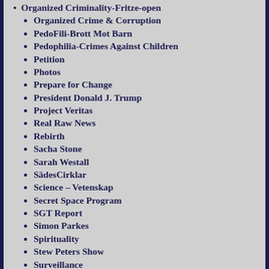Organized Crime & Corruption
PedoFili-Brott Mot Barn
Pedophilia-Crimes Against Children
Petition
Photos
Prepare for Change
President Donald J. Trump
Project Veritas
Real Raw News
Rebirth
Sacha Stone
Sarah Westall
SädesCirklar
Science – Vetenskap
Secret Space Program
SGT Report
Simon Parkes
Spirituality
Stew Peters Show
Surveillance
Svenska RiksdagsValet 2018
Svenska RiksdagsValet 2022
Sverige
Swebbtv & Nyheter & Vetenskap
Technology